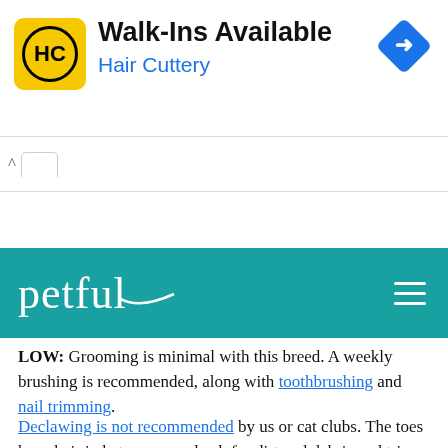[Figure (logo): Hair Cuttery advertisement banner with yellow square logo with HC text, Walk-Ins Available headline, and blue direction arrow icon]
petful (navigation bar with teal background and hamburger menu)
LOW: Grooming is minimal with this breed. A weekly brushing is recommended, along with toothbrushing and nail trimming.
Declawing is not recommended by us or cat clubs. The toes have hair in between, so check for dirt and debris and trim as needed. It also helps to clean the large ears to keep them healthy and avoid infections.